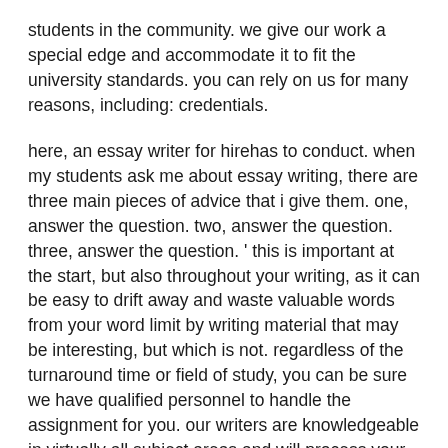students in the community. we give our work a special edge and accommodate it to fit the university standards. you can rely on us for many reasons, including: credentials.
here, an essay writer for hirehas to conduct. when my students ask me about essay writing, there are three main pieces of advice that i give them. one, answer the question. two, answer the question. three, answer the question. ' this is important at the start, but also throughout your writing, as it can be easy to drift away and waste valuable words from your word limit by writing material that may be interesting, but which is not. regardless of the turnaround time or field of study, you can be sure we have qualified personnel to handle the assignment for you. our writers are knowledgeable in virtually all subject areas and will process your assignment as fast as possible to beat the deadlines. quality guarantee.
we have an exceptional team of proficient writers with a vast experience in writing quality academic essays. students from any educational institution write independent works, and sometimes they don't have any help with writing essays.